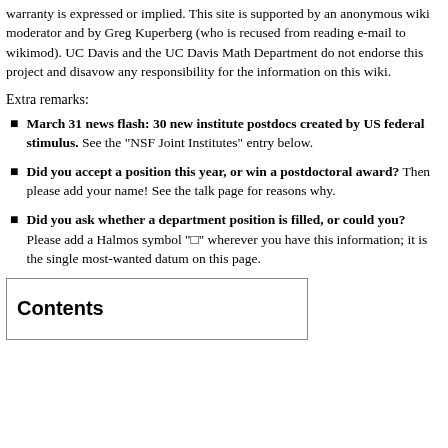warranty is expressed or implied. This site is supported by an anonymous wiki moderator and by Greg Kuperberg (who is recused from reading e-mail to wikimod). UC Davis and the UC Davis Math Department do not endorse this project and disavow any responsibility for the information on this wiki.
Extra remarks:
March 31 news flash: 30 new institute postdocs created by US federal stimulus. See the "NSF Joint Institutes" entry below.
Did you accept a position this year, or win a postdoctoral award? Then please add your name! See the talk page for reasons why.
Did you ask whether a department position is filled, or could you? Please add a Halmos symbol "□" wherever you have this information; it is the single most-wanted datum on this page.
Contents